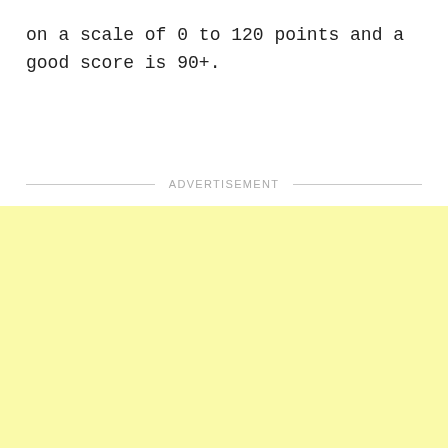on a scale of 0 to 120 points and a good score is 90+.
ADVERTISEMENT
[Figure (other): Yellow advertisement placeholder box]